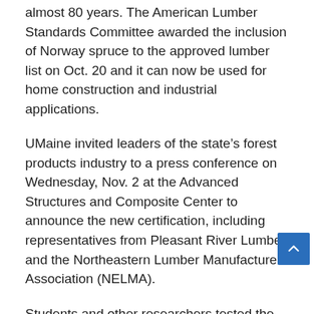almost 80 years. The American Lumber Standards Committee awarded the inclusion of Norway spruce to the approved lumber list on Oct. 20 and it can now be used for home construction and industrial applications.
UMaine invited leaders of the state’s forest products industry to a press conference on Wednesday, Nov. 2 at the Advanced Structures and Composite Center to announce the new certification, including representatives from Pleasant River Lumber and the Northeastern Lumber Manufacturers Association (NELMA).
Students and other researchers tested the species at UMaine for approximately five months, using roughly 1,300 pieces of lumber grown in areas of Maine, Vermont, New York and Wisconsin. The team of researchers conducted tests of bending, tension, shear and compression of the Norway spruce.
The new certification of the Norway spruce is expected to have a tremendous impact on Maine’s economy and the forest